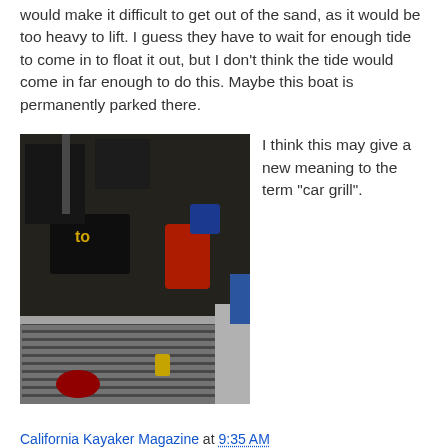would make it difficult to get out of the sand, as it would be too heavy to lift. I guess they have to wait for enough tide to come in to float it out, but I don't think the tide would come in far enough to do this. Maybe this boat is permanently parked there.
[Figure (photo): Car engine compartment with grill visible, showing battery and fuel tank, photographed from above/front angle]
I think this may give a new meaning to the term "car grill".
California Kayaker Magazine at 9:35 AM
Share
2 comments: